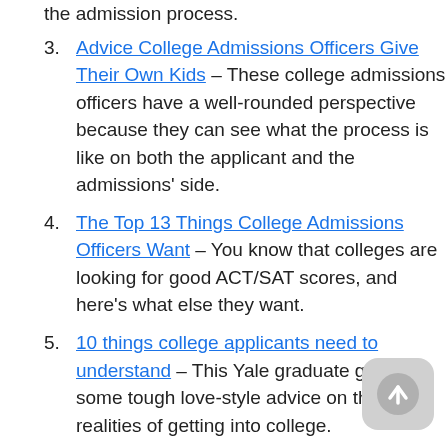the admission process.
Advice College Admissions Officers Give Their Own Kids – These college admissions officers have a well-rounded perspective because they can see what the process is like on both the applicant and the admissions' side.
The Top 13 Things College Admissions Officers Want – You know that colleges are looking for good ACT/SAT scores, and here's what else they want.
10 things college applicants need to understand – This Yale graduate gives some tough love-style advice on the realities of getting into college.
8 Things Admissions Officers Wish You Know About Applying to College